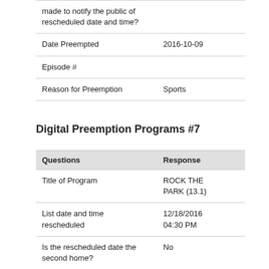| made to notify the public of rescheduled date and time? |  |
| Date Preempted | 2016-10-09 |
| Episode # |  |
| Reason for Preemption | Sports |
Digital Preemption Programs #7
| Questions | Response |
| --- | --- |
| Title of Program | ROCK THE PARK (13.1) |
| List date and time rescheduled | 12/18/2016 04:30 PM |
| Is the rescheduled date the second home? | No |
| Were promotional efforts | Yes |